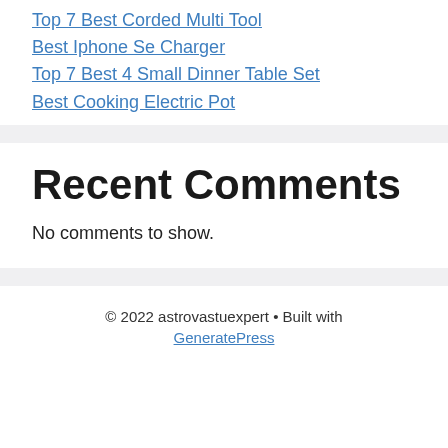Top 7 Best Corded Multi Tool
Best Iphone Se Charger
Top 7 Best 4 Small Dinner Table Set
Best Cooking Electric Pot
Recent Comments
No comments to show.
© 2022 astrovastuexpert • Built with GeneratePress